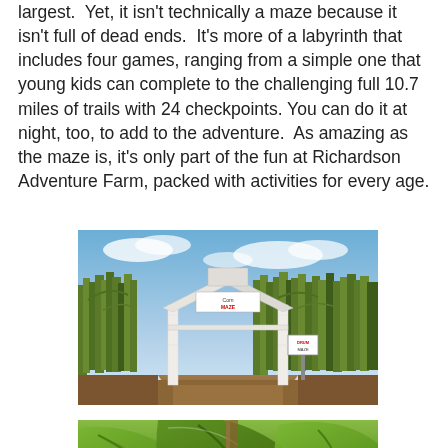largest.  Yet, it isn't technically a maze because it isn't full of dead ends.  It's more of a labyrinth that includes four games, ranging from a simple one that young kids can complete to the challenging full 10.7 miles of trails with 24 checkpoints. You can do it at night, too, to add to the adventure.  As amazing as the maze is, it's only part of the fun at Richardson Adventure Farm, packed with activities for every age.
[Figure (photo): Entrance to a corn maze with a white wooden arch/gateway structure, surrounded by tall corn stalks. A sign on the arch reads 'Corn Maze' and there is a post with a sign on the right side. Dirt path leads into the maze. Blue sky with light clouds visible above.]
[Figure (photo): Close-up photo of green corn plant leaves and stalks, with bokeh background.]